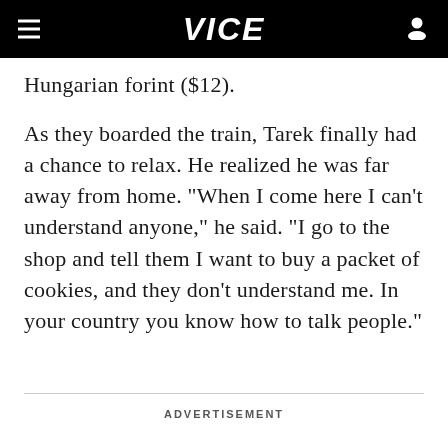VICE
Hungarian forint ($12).
As they boarded the train, Tarek finally had a chance to relax. He realized he was far away from home. "When I come here I can't understand anyone," he said. "I go to the shop and tell them I want to buy a packet of cookies, and they don't understand me. In your country you know how to talk people."
ADVERTISEMENT